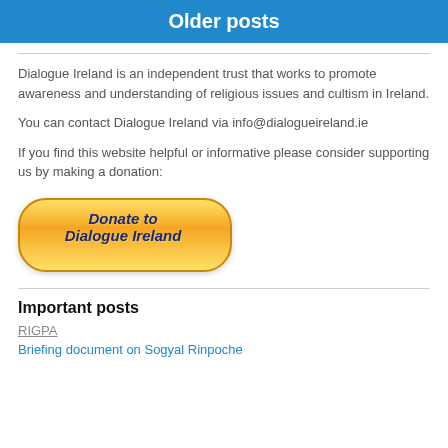Older posts
Dialogue Ireland is an independent trust that works to promote awareness and understanding of religious issues and cultism in Ireland.
You can contact Dialogue Ireland via info@dialogueireland.ie
If you find this website helpful or informative please consider supporting us by making a donation:
[Figure (illustration): Yellow/gold gradient donate button with rounded pill shape reading 'Donate to Dialogue Ireland' in bold italic dark blue text]
Important posts
RIGPA
Briefing document on Sogyal Rinpoche